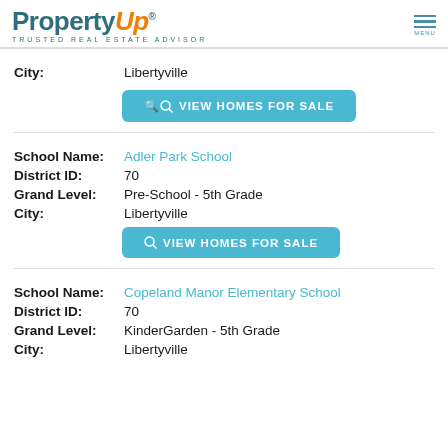PropertyUp® TRUSTED REAL ESTATE ADVISOR
City: Libertyville
VIEW HOMES FOR SALE
School Name: Adler Park School
District ID: 70
Grand Level: Pre-School - 5th Grade
City: Libertyville
VIEW HOMES FOR SALE
School Name: Copeland Manor Elementary School
District ID: 70
Grand Level: KinderGarden - 5th Grade
City: Libertyville